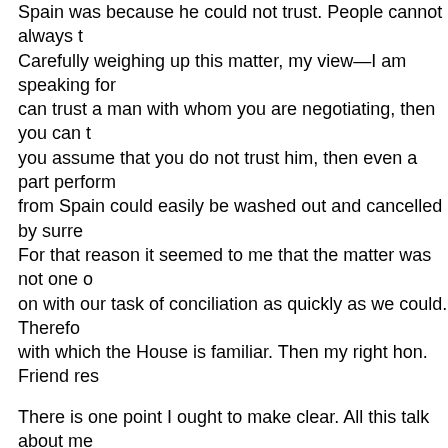Spain was because he could not trust. People cannot always t... Carefully weighing up this matter, my view—I am speaking for can trust a man with whom you are negotiating, then you can t you assume that you do not trust him, then even a part perform from Spain could easily be washed out and cancelled by surre For that reason it seemed to me that the matter was not one o on with our task of conciliation as quickly as we could. Therefo with which the House is familiar. Then my right hon. Friend res
There is one point I ought to make clear. All this talk about me right hon. Friend, which has been insinuated and suggested, is The most strenuous efforts were made by a body of colleagues difficulty and to retain his great services for the Government ar Minister assisted in these efforts. When he got news during the arranged to be delivered on the Monday, was likely to be of an colleagues, including my right hon. Friend.
Miss Wilkinson From where did he get it?
Mr. Morrison The hon. Member must not expect the Prime Mi information. As soon as my right hon. Friend knew of it he laid including my right hon. Friend. That ought to be known. Everyt